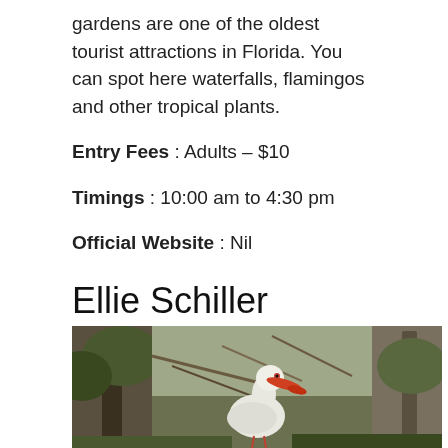gardens are one of the oldest tourist attractions in Florida. You can spot here waterfalls, flamingos and other tropical plants.
Entry Fees : Adults – $10
Timings : 10:00 am to 4:30 pm
Official Website : Nil
Ellie Schiller Homosassa Springs Wildlife State Park
[Figure (photo): A white ibis bird with an orange beak photographed in a natural wooded setting with trees and branches in the background.]